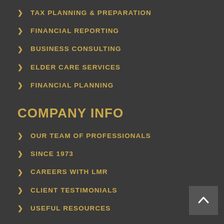> TAX PLANNING & PREPARATION
> FINANCIAL REPORTING
> BUSINESS CONSULTING
> ELDER CARE SERVICES
> FINANCIAL PLANNING
COMPANY INFO
> OUR TEAM OF PROFESSIONALS
> SINCE 1973
> CAREERS WITH LMR
> CLIENT TESTIMONIALS
> USEFUL RESOURCES